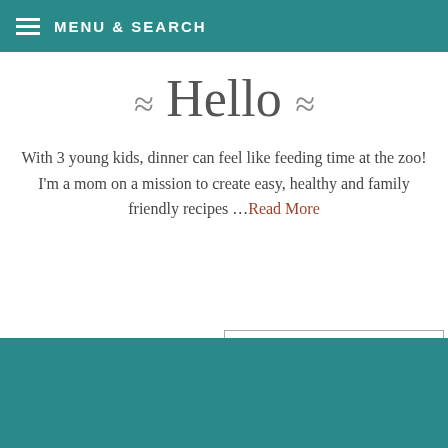MENU & SEARCH
~ Hello ~
With 3 young kids, dinner can feel like feeding time at the zoo! I'm a mom on a mission to create easy, healthy and family friendly recipes …Read More
[Figure (screenshot): Search input box with placeholder text 'Search...']